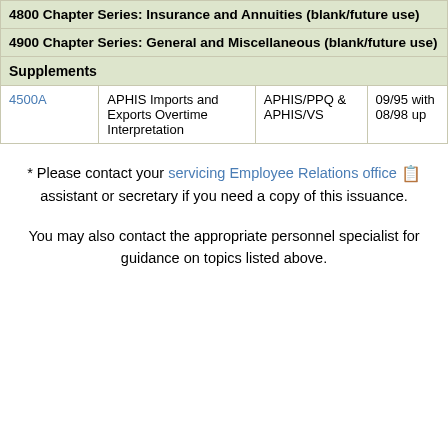| 4800 Chapter Series: Insurance and Annuities (blank/future use) |  |  |  |
| 4900 Chapter Series: General and Miscellaneous (blank/future use) |  |  |  |
| Supplements |  |  |  |
| 4500A | APHIS Imports and Exports Overtime Interpretation | APHIS/PPQ & APHIS/VS | 09/95 with 08/98 up |
* Please contact your servicing Employee Relations office assistant or secretary if you need a copy of this issuance.
You may also contact the appropriate personnel specialist for guidance on topics listed above.